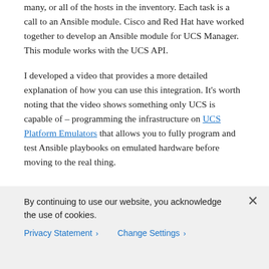many, or all of the hosts in the inventory. Each task is a call to an Ansible module. Cisco and Red Hat have worked together to develop an Ansible module for UCS Manager. This module works with the UCS API.
I developed a video that provides a more detailed explanation of how you can use this integration. It's worth noting that the video shows something only UCS is capable of – programming the infrastructure on UCS Platform Emulators that allows you to fully program and test Ansible playbooks on emulated hardware before moving to the real thing.
By continuing to use our website, you acknowledge the use of cookies.
Privacy Statement > Change Settings >